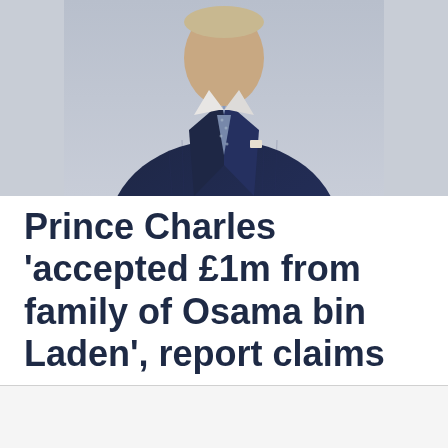[Figure (photo): A man in a dark navy pinstripe suit with a patterned tie, photographed from the chest up against a light grey background.]
Prince Charles 'accepted £1m from family of Osama bin Laden', report claims